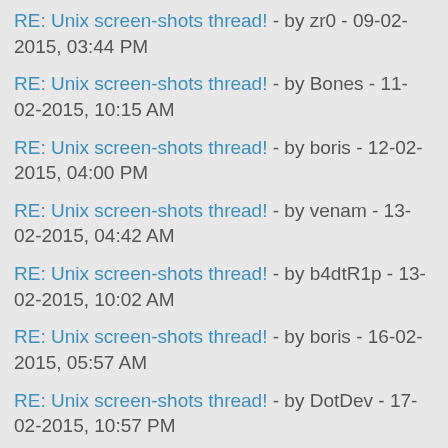RE: Unix screen-shots thread! - by zr0 - 09-02-2015, 03:44 PM
RE: Unix screen-shots thread! - by Bones - 11-02-2015, 10:15 AM
RE: Unix screen-shots thread! - by boris - 12-02-2015, 04:00 PM
RE: Unix screen-shots thread! - by venam - 13-02-2015, 04:42 AM
RE: Unix screen-shots thread! - by b4dtR1p - 13-02-2015, 10:02 AM
RE: Unix screen-shots thread! - by boris - 16-02-2015, 05:57 AM
RE: Unix screen-shots thread! - by DotDev - 17-02-2015, 10:57 PM
RE: Unix screen-shots thread! - by boris - 18-02-2015, 12:34 PM
RE: Unix screen-shots thread! - by nounoursheureux - 18-02-2015, 02:28 PM
RE: Unix screen-shots thread! - by boris - 18-02-2015, 04:02 PM
RE: Unix screen-shots thread! - by nounoursheureux - 18-02-2015, 06:45 PM